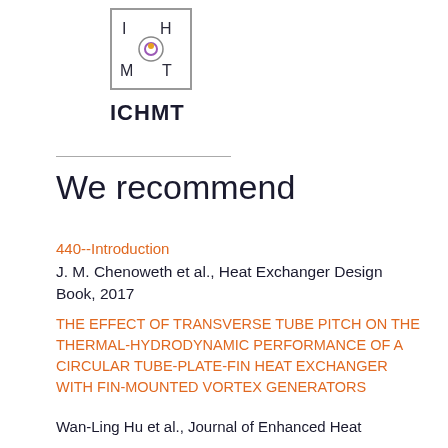[Figure (logo): ICHMT logo: a square box with letters I, H on top row, M, T on bottom row and a stylized orange/purple circular graphic in the center]
ICHMT
We recommend
440--Introduction
J. M. Chenoweth et al., Heat Exchanger Design Book, 2017
THE EFFECT OF TRANSVERSE TUBE PITCH ON THE THERMAL-HYDRODYNAMIC PERFORMANCE OF A CIRCULAR TUBE-PLATE-FIN HEAT EXCHANGER WITH FIN-MOUNTED VORTEX GENERATORS
Wan-Ling Hu et al., Journal of Enhanced Heat